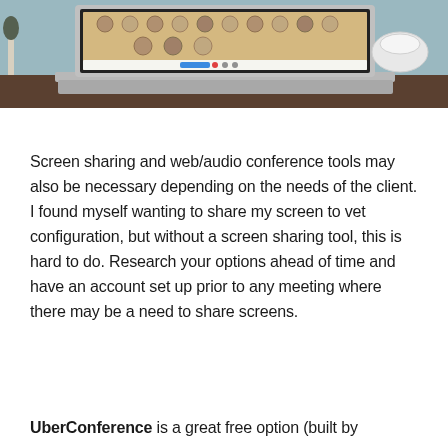[Figure (screenshot): A laptop computer on a desk displaying a web conferencing application with participant avatar circles arranged in rows on a wooden-textured background. A white bowl and plant are visible in the background.]
Screen sharing and web/audio conference tools may also be necessary depending on the needs of the client. I found myself wanting to share my screen to vet configuration, but without a screen sharing tool, this is hard to do. Research your options ahead of time and have an account set up prior to any meeting where there may be a need to share screens.
UberConference is a great free option (built by